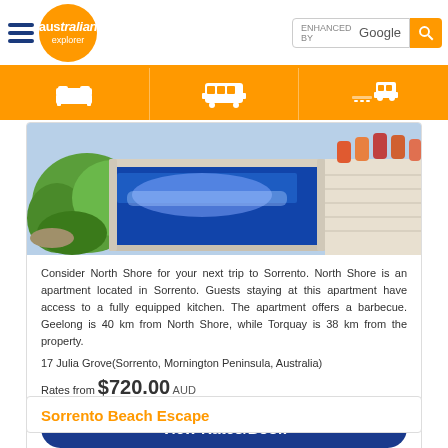Australian Explorer - ENHANCED BY Google search bar
[Figure (photo): Swimming pool with blue water, wooden deck, garden greenery, and colorful lounge chairs in background]
Consider North Shore for your next trip to Sorrento. North Shore is an apartment located in Sorrento. Guests staying at this apartment have access to a fully equipped kitchen. The apartment offers a barbecue. Geelong is 40 km from North Shore, while Torquay is 38 km from the property.
17 Julia Grove(Sorrento, Mornington Peninsula, Australia)
Rates from $720.00 AUD
View Rates/Book
Sorrento Beach Escape